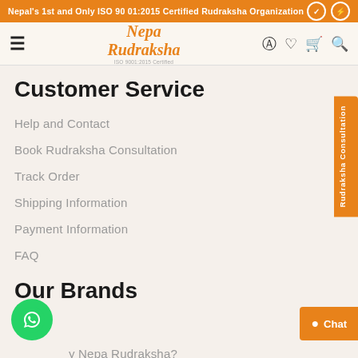Nepal's 1st and Only ISO 9001:2015 Certified Rudraksha Organization
[Figure (logo): Nepa Rudraksha logo with ISO 9001:2015 Certified text]
Customer Service
Help and Contact
Book Rudraksha Consultation
Track Order
Shipping Information
Payment Information
FAQ
Our Brands
Why Nepa Rudraksha?
Certification and Guarantee